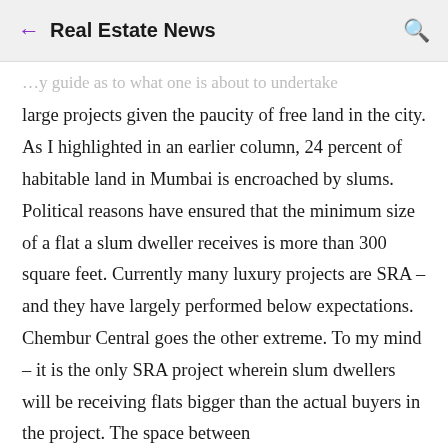Real Estate News
...y guide as to what one is about to undertake large projects given the paucity of free land in the city. As I highlighted in an earlier column, 24 percent of habitable land in Mumbai is encroached by slums. Political reasons have ensured that the minimum size of a flat a slum dweller receives is more than 300 square feet. Currently many luxury projects are SRA – and they have largely performed below expectations. Chembur Central goes the other extreme. To my mind – it is the only SRA project wherein slum dwellers will be receiving flats bigger than the actual buyers in the project. The space between